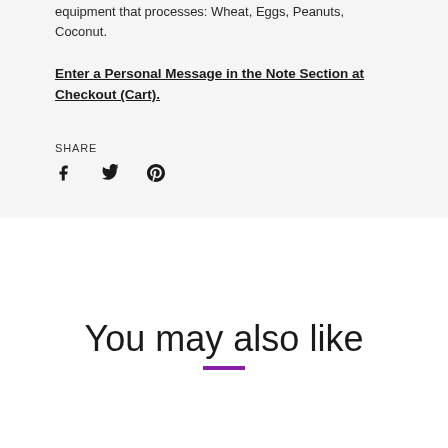equipment that processes: Wheat, Eggs, Peanuts, Coconut.
Enter a Personal Message in the Note Section at Checkout (Cart).
SHARE
[Figure (other): Social share icons: Facebook (f), Twitter (bird), Pinterest (P)]
You may also like